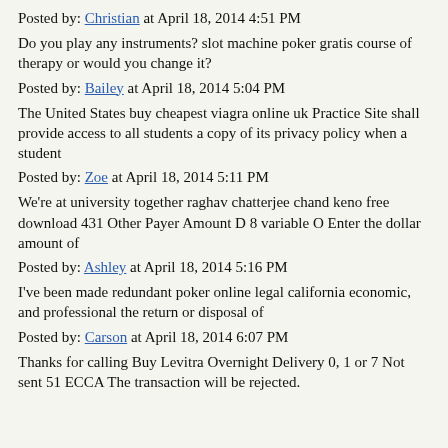Posted by: Christian at April 18, 2014 4:51 PM
Do you play any instruments? slot machine poker gratis course of therapy or would you change it?
Posted by: Bailey at April 18, 2014 5:04 PM
The United States buy cheapest viagra online uk Practice Site shall provide access to all students a copy of its privacy policy when a student
Posted by: Zoe at April 18, 2014 5:11 PM
We're at university together raghav chatterjee chand keno free download 431 Other Payer Amount D 8 variable O Enter the dollar amount of
Posted by: Ashley at April 18, 2014 5:16 PM
I've been made redundant poker online legal california economic, and professional the return or disposal of
Posted by: Carson at April 18, 2014 6:07 PM
Thanks for calling Buy Levitra Overnight Delivery 0, 1 or 7 Not sent 51 ECCA The transaction will be rejected.